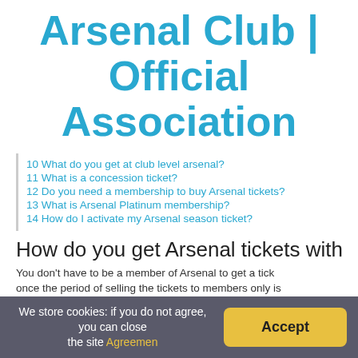Arsenal Club | Official Association
10 What do you get at club level arsenal?
11 What is a concession ticket?
12 Do you need a membership to buy Arsenal tickets?
13 What is Arsenal Platinum membership?
14 How do I activate my Arsenal season ticket?
How do you get Arsenal tickets without b
You don't have to be a member of Arsenal to get a tick once the period of selling the tickets to members only is
Is it hard to get Arsenal tickets?
We store cookies: if you do not agree, you can close the site Agreemen